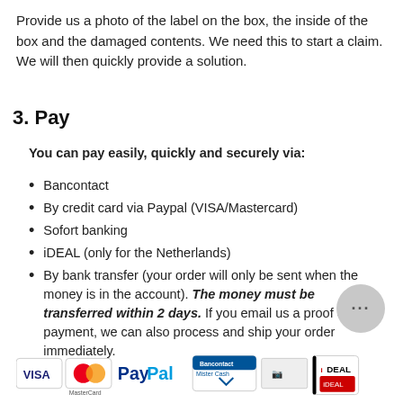Provide us a photo of the label on the box, the inside of the box and the damaged contents. We need this to start a claim. We will then quickly provide a solution.
3. Pay
You can pay easily, quickly and securely via:
Bancontact
By credit card via Paypal (VISA/Mastercard)
Sofort banking
iDEAL (only for the Netherlands)
By bank transfer (your order will only be sent when the money is in the account). The money must be transferred within 2 days. If you email us a proof of payment, we can also process and ship your order immediately.
[Figure (logo): Payment method logos: VISA, MasterCard, PayPal, Bancontact/Mister Cash, and iDEAL]